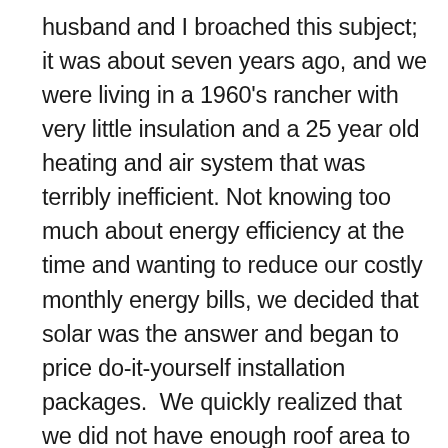husband and I broached this subject;  it was about seven years ago, and we were living in a 1960's rancher with very little insulation and a 25 year old heating and air system that was terribly inefficient. Not knowing too much about energy efficiency at the time and wanting to reduce our costly monthly energy bills, we decided that solar was the answer and began to price do-it-yourself installation packages.  We quickly realized that we did not have enough roof area to house the number of solar panels we would need to produce the energy we were currently using.  The system would also require us to refinance our home for 150 years.  Where did we go wrong?  There are many considerations that go into correctly sizing a solar